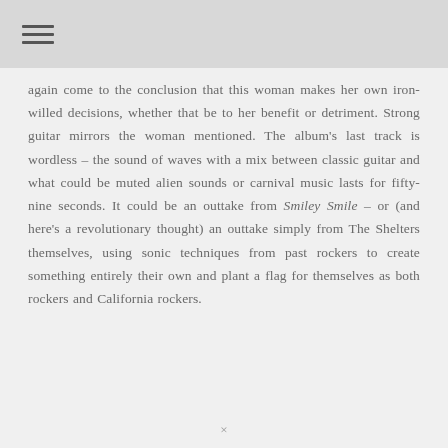≡
again come to the conclusion that this woman makes her own iron-willed decisions, whether that be to her benefit or detriment. Strong guitar mirrors the woman mentioned. The album's last track is wordless – the sound of waves with a mix between classic guitar and what could be muted alien sounds or carnival music lasts for fifty-nine seconds. It could be an outtake from Smiley Smile – or (and here's a revolutionary thought) an outtake simply from The Shelters themselves, using sonic techniques from past rockers to create something entirely their own and plant a flag for themselves as both rockers and California rockers.
×